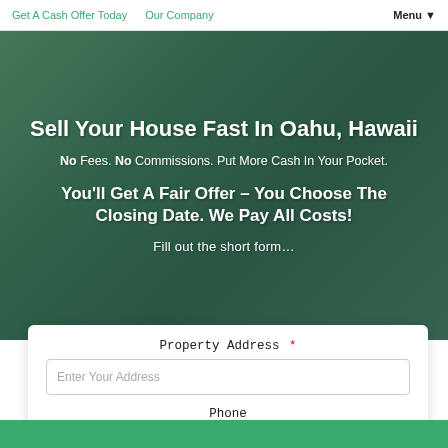Get A Cash Offer Today   Our Company   Menu
Sell Your House Fast In Oahu, Hawaii
No Fees. No Commissions. Put More Cash In Your Pocket.
You'll Get A Fair Offer – You Choose The Closing Date. We Pay All Costs!
Fill out the short form…
Property Address *
Phone
Email *